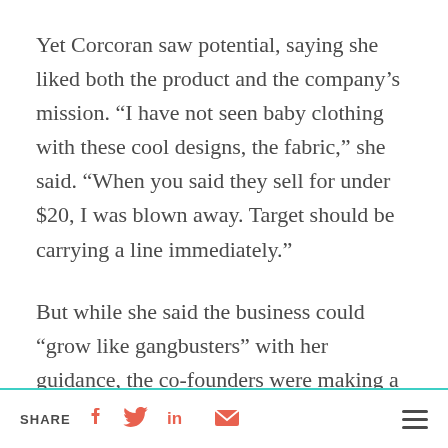Yet Corcoran saw potential, saying she liked both the product and the company’s mission. “I have not seen baby clothing with these cool designs, the fabric,” she said. “When you said they sell for under $20, I was blown away. Target should be carrying a line immediately.”
But while she said the business could “grow like gangbusters” with her guidance, the co-founders were making a critical mistake. “You underestimate yourself,” Corcoran said. “I don’t think you realize the potential you have here.”
Corcoran offered the Adedokuns $175,000 for
SHARE